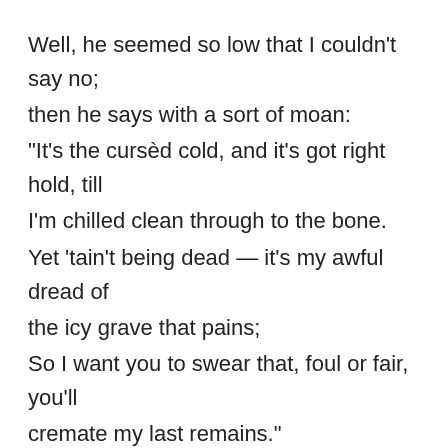Well, he seemed so low that I couldn't say no; then he says with a sort of moan: "It's the cursèd cold, and it's got right hold, till I'm chilled clean through to the bone. Yet 'tain't being dead — it's my awful dread of the icy grave that pains; So I want you to swear that, foul or fair, you'll cremate my last remains."
A pal's last need is a thing to heed, so I swore I would not fail; And we started on at the streak of dawn; but God! he looked ghastly pale.